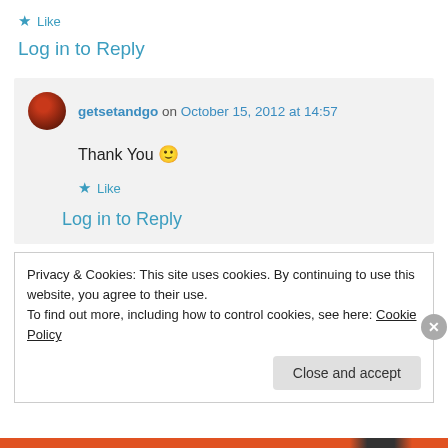★ Like
Log in to Reply
getsetandgo on October 15, 2012 at 14:57
Thank You 🙂
★ Like
Log in to Reply
Privacy & Cookies: This site uses cookies. By continuing to use this website, you agree to their use.
To find out more, including how to control cookies, see here: Cookie Policy
Close and accept